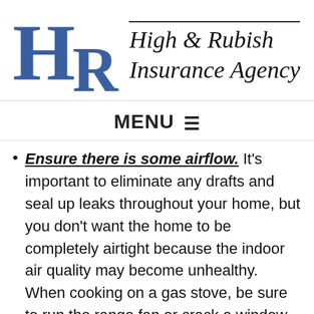[Figure (logo): High & Rubish Insurance Agency logo with large blue HR letters and italic agency name text]
MENU ☰
Ensure there is some airflow. It's important to eliminate any drafts and seal up leaks throughout your home, but you don't want the home to be completely airtight because the indoor air quality may become unhealthy. When cooking on a gas stove, be sure to run the range fan or crack a window to let gasses